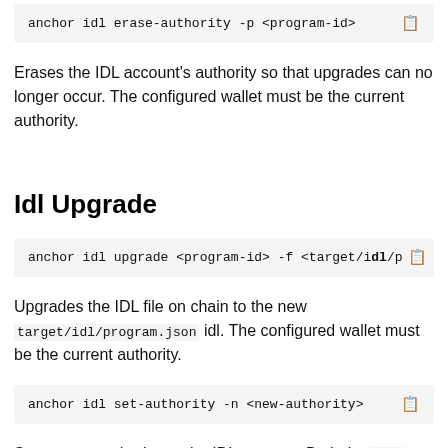[Figure (screenshot): Code block showing: anchor idl erase-authority -p <program-id> with copy icon]
Erases the IDL account's authority so that upgrades can no longer occur. The configured wallet must be the current authority.
Idl Upgrade
[Figure (screenshot): Code block showing: anchor idl upgrade <program-id> -f <target/idl/p... with copy icon]
Upgrades the IDL file on chain to the new target/idl/program.json idl. The configured wallet must be the current authority.
[Figure (screenshot): Code block showing: anchor idl set-authority -n <new-authority> with copy icon]
Sets a new authority on the IDL account. Both the new-authority and program-id must be encoded in base 58.